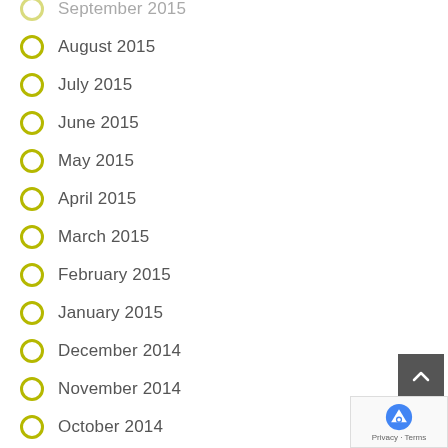September 2015
August 2015
July 2015
June 2015
May 2015
April 2015
March 2015
February 2015
January 2015
December 2014
November 2014
October 2014
September 2014
July 2014
June 2014
May 2014